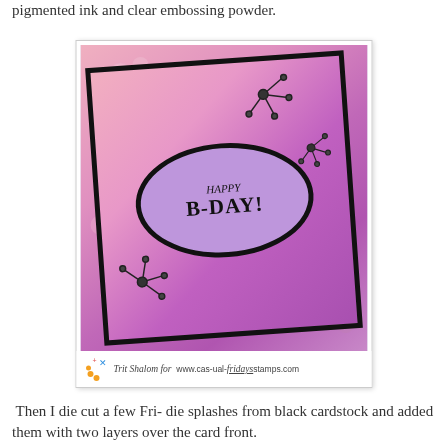pigmented ink and clear embossing powder.
[Figure (photo): A handmade birthday card with purple/pink floral background, black oval frame with 'HAPPY B-DAY!' text and decorative flower splashes, shown tilted on white background. Watermark: 'Trit Shalom for www.cas-ual-fridaystamps.com']
Then I die cut a few Fri- die splashes from black cardstock and added them with two layers over the card front.